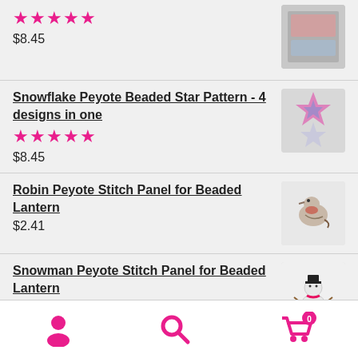$8.45
Snowflake Peyote Beaded Star Pattern - 4 designs in one
★★★★★
$8.45
Robin Peyote Stitch Panel for Beaded Lantern
$2.41
Snowman Peyote Stitch Panel for Beaded Lantern
$2.41